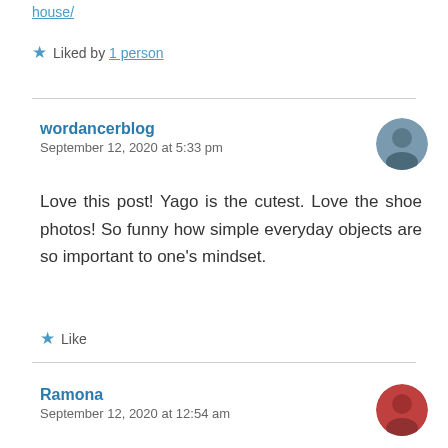house/
★ Liked by 1 person
wordancerblog
September 12, 2020 at 5:33 pm
Love this post! Yago is the cutest. Love the shoe photos! So funny how simple everyday objects are so important to one's mindset.
★ Like
Ramona
September 12, 2020 at 12:54 am